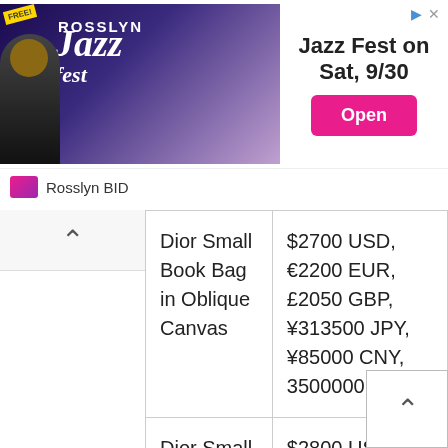[Figure (infographic): Advertisement banner for Rosslyn Jazz Fest on Sat 9/30, featuring a musician image on purple background, with an Open button in pink and Rosslyn BID branding at bottom.]
| Product | Price |
| --- | --- |
| Dior Small Book Bag in Oblique Canvas | $2700 USD, €2200 EUR, £2050 GBP, ¥313500 JPY, ¥85000 CNY, 3500000 WON |
| Dior Small Book in Calfskin | $2800 USD, €2200 EUR, £2050 GBP, ¥330000 JPY, ¥90000 CNY, 3400000 WON |
| Dior Book Tote in Oblique Canvas | $2900 USD, €2300 EUR, £2150 GBP, ¥324500 JPY, ¥89000 CNY, 3650000 WON |
| Dior Book Tote in | $2900 USD, €2300 EUR, £2150 GBP, |